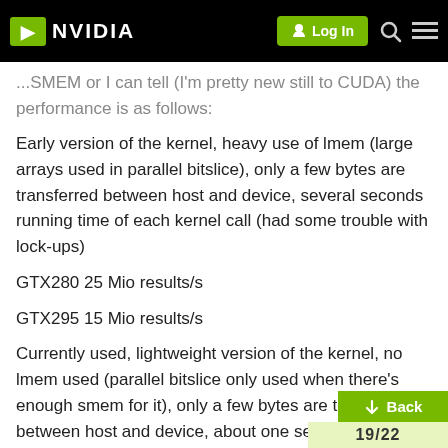NVIDIA Log In
...SMEM or I can tell (I'm pretty new still to CUDA) the performance is as follows:
Early version of the kernel, heavy use of lmem (large arrays used in parallel bitslice), only a few bytes are transferred between host and device, several seconds running time of each kernel call (had some trouble with lock-ups)
GTX280 25 Mio results/s
GTX295 15 Mio results/s
Currently used, lightweight version of the kernel, no lmem used (parallel bitslice only used when there's enough smem for it), only a few bytes are transferred between host and device, about one second running time of each kernel call
GTX280 16 Mio results/s
Back 19/22